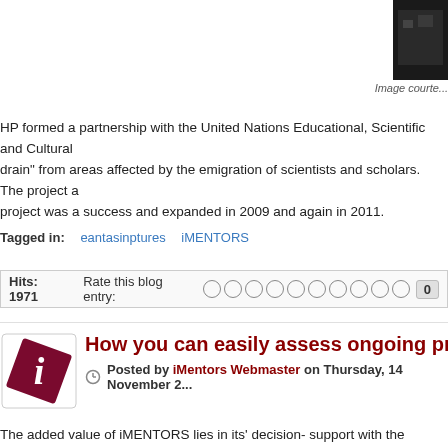[Figure (photo): Dark photo thumbnail in top right corner]
Image courte...
HP formed a partnership with the United Nations Educational, Scientific and Cultural... drain" from areas affected by the emigration of scientists and scholars.  The project a... project was a success and expanded in 2009 and again in 2011.
Tagged in:   eantasinptures   iMENTORS
Hits: 1971   Rate this blog entry:   ○ ○ ○ ○ ○ ○ ○ ○ ○ ○   0
How you can easily assess ongoing pr...
Posted by iMentors Webmaster on Thursday, 14 November 2...
The added value of iMENTORS lies in its' decision- support with the evaluation modu... ICT4D proposals ahead of their implementation by estimating their potential impact.
Image courtesy o...